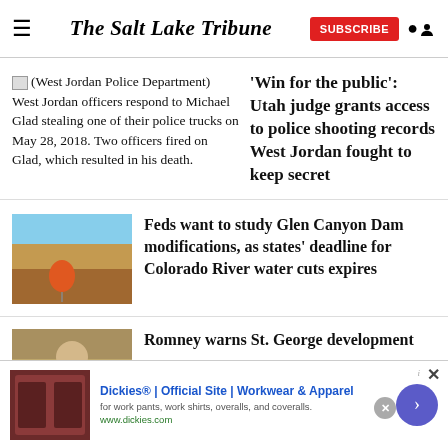The Salt Lake Tribune
[Figure (photo): Broken image icon for West Jordan Police Department photo]
(West Jordan Police Department) West Jordan officers respond to Michael Glad stealing one of their police trucks on May 28, 2018. Two officers fired on Glad, which resulted in his death.
'Win for the public': Utah judge grants access to police shooting records West Jordan fought to keep secret
[Figure (photo): Photo of a buoy on dry cracked desert ground near Glen Canyon Dam area]
Feds want to study Glen Canyon Dam modifications, as states’ deadline for Colorado River water cuts expires
[Figure (photo): Partial photo related to Romney / St. George development story]
Romney warns St. George development
[Figure (screenshot): Advertisement banner: Dickies® | Official Site | Workwear & Apparel. for work pants, work shirts, overalls, and coveralls. www.dickies.com]